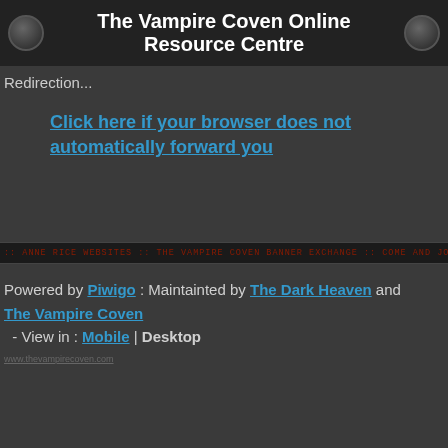The Vampire Coven Online Resource Centre
Redirection...
Click here if your browser does not automatically forward you
:: ANNE RICE WEBSITES :: THE VAMPIRE COVEN BANNER EXCHANGE :: COME AND JOIN NOW
Powered by Piwigo : Maintainted by The Dark Heaven and The Vampire Coven - View in : Mobile | Desktop